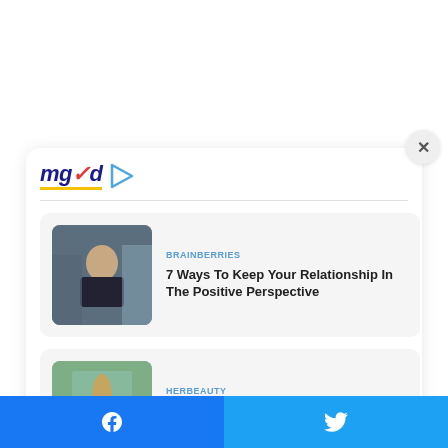[Figure (logo): MGID logo with stylized text and play button icon]
[Figure (photo): Photo of a couple in a car, relationship article thumbnail]
BRAINBERRIES
7 Ways To Keep Your Relationship In The Positive Perspective
[Figure (photo): Photo of Robert Irwin with a crocodile at a stadium, wildlife article thumbnail]
HERBEAUTY
Robert Irwin Recreates His Father's Iconic Photos
[Figure (infographic): Facebook and Twitter social share buttons bar at bottom]